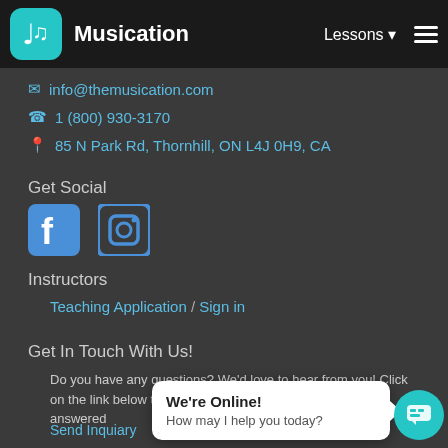Musication | Lessons
info@themusication.com
1 (800) 930-3170
85 N Park Rd, Thornhill, ON L4J 0H9, CA
Get Social
[Figure (illustration): Facebook and Instagram social media icons in blue/teal color]
Instructors
Teaching Application / Sign in
Get In Touch With Us!
Do you have any questions? We'd love to hear from you! Click on the link below to shoot us an email. Your inquiry will be answered
Send Inquiary
We're Online! How may I help you today?